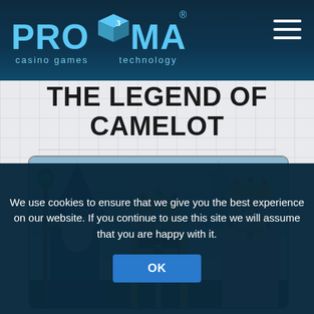Proxima Casino Games Technology
THE LEGEND OF CAMELOT
[Figure (illustration): Game artwork showing a wizard with staff, a king with golden crown holding a sword, and a queen with golden crown — medieval fantasy characters for The Legend of Camelot slot game, with a misty castle in the background.]
We use cookies to ensure that we give you the best experience on our website. If you continue to use this site we will assume that you are happy with it.